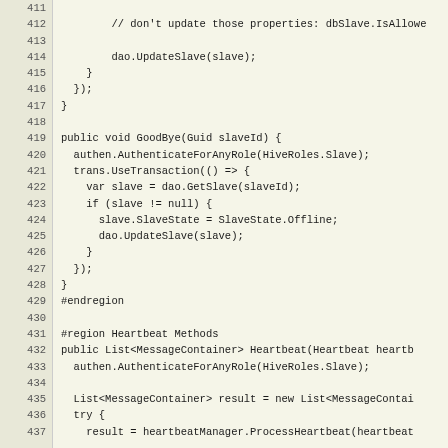[Figure (screenshot): Source code editor showing C# code lines 411-437, with line numbers on the left in a beige/tan column and code on a light cream background. The code includes methods GoodBye and Heartbeat, using transactions and authentication calls.]